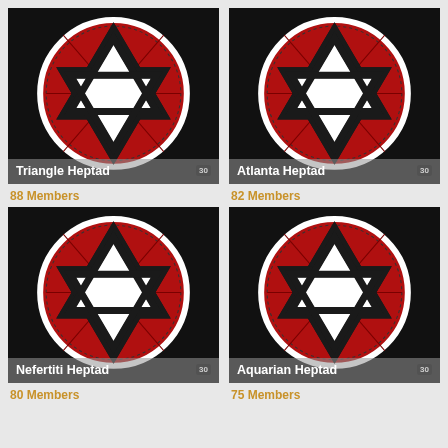[Figure (illustration): Star of David / hexagram symbol on red circle with black background, labeled Triangle Heptad]
[Figure (illustration): Star of David / hexagram symbol on red circle with black background, labeled Atlanta Heptad]
88 Members
82 Members
[Figure (illustration): Star of David / hexagram symbol on red circle with black background, labeled Nefertiti Heptad]
[Figure (illustration): Star of David / hexagram symbol on red circle with black background, labeled Aquarian Heptad]
80 Members
75 Members